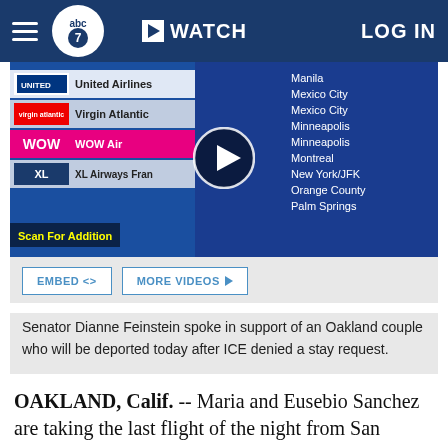abc7  WATCH  LOG IN
[Figure (screenshot): Video thumbnail showing a woman in a red shirt being interviewed at an airport, with airline departure board visible in background showing United Airlines, Virgin Atlantic, WOW Air, XL Airways France and destinations including Manila, Mexico City, Minneapolis, Montreal, New York/JFK, Orange County, Palm Springs. A play button circle is centered on the image. Bottom left reads 'Scan For Addition...']
Senator Dianne Feinstein spoke in support of an Oakland couple who will be deported today after ICE denied a stay request.
OAKLAND, Calif. -- Maria and Eusebio Sanchez are taking the last flight of the night from San Francisco...